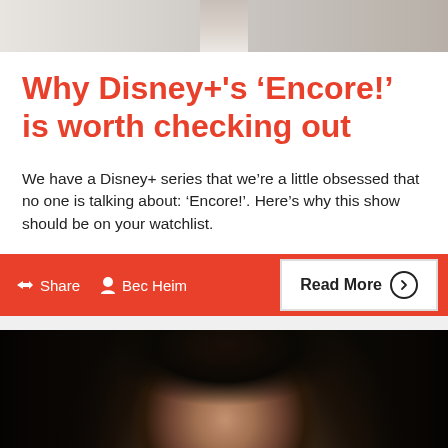[Figure (photo): Partial top image, cropped photo of person(s), light grey tones]
Why Disney+'s ‘Encore!’ is worth checking out
We have a Disney+ series that we’re a little obsessed that no one is talking about: ‘Encore!’. Here’s why this show should be on your watchlist.
Share   Bec Heim   Read More
[Figure (photo): Close-up photo of a dark-haired man against a very dark background, with a red vertical bar on the left edge]